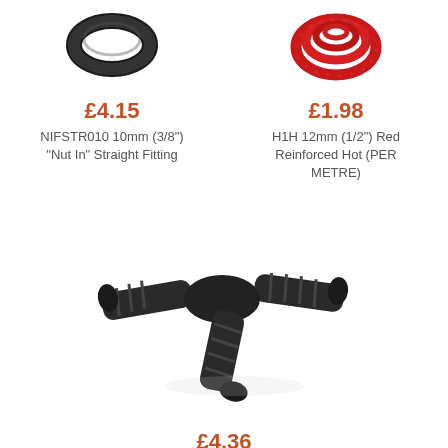[Figure (photo): Black rubber O-ring / nut fitting, top left]
[Figure (photo): Red reinforced hot hose coil, top right]
£4.15
NIFSTR010 10mm (3/8") "Nut In" Straight Fitting
£1.98
H1H 12mm (1/2") Red Reinforced Hot (PER METRE)
[Figure (photo): Black plastic Y-shaped hose connector/fitting, center]
£4.36
HY100 Equal Hose "Y" 25mm (1")